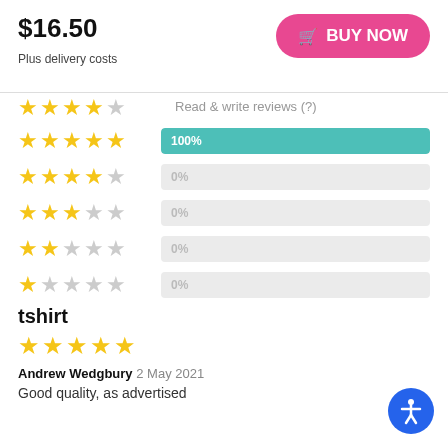$16.50
Plus delivery costs
BUY NOW
Read & write reviews (?)
[Figure (infographic): Star rating distribution bars: 5 stars 100% (teal bar), 4 stars 0%, 3 stars 0%, 2 stars 0%, 1 star 0%]
tshirt
5 stars
Andrew Wedgbury 2 May 2021
Good quality, as advertised